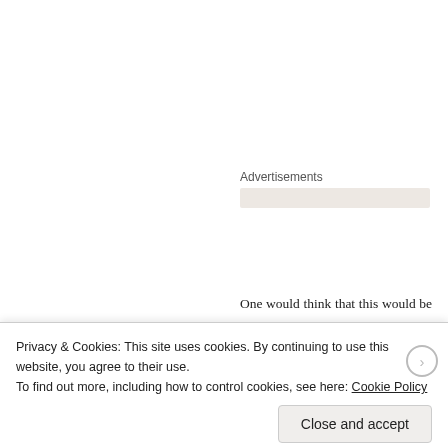Advertisements
One would think that this would be an immense boon to the populations of the First World rentier nations. Marxist Third World theorists have stated that the working classes of the First World constitute a “labor aristocracy,” where the profits made off the back of the Third World ease their sufferings. First World welfare states, funded in part from profits of Third World exploitation would seem to justify this analysis.
Privacy & Cookies: This site uses cookies. By continuing to use this website, you agree to their use.
To find out more, including how to control cookies, see here: Cookie Policy